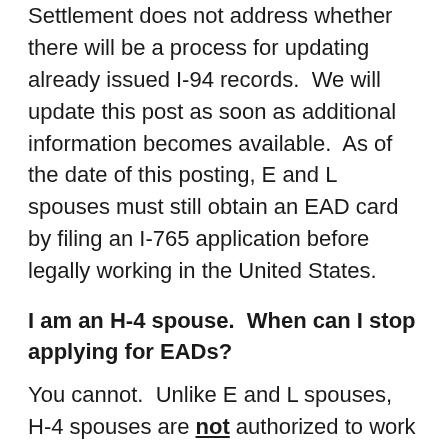Settlement does not address whether there will be a process for updating already issued I-94 records.  We will update this post as soon as additional information becomes available.  As of the date of this posting, E and L spouses must still obtain an EAD card by filing an I-765 application before legally working in the United States.
I am an H-4 spouse.  When can I stop applying for EADs?
You cannot.  Unlike E and L spouses, H-4 spouses are not authorized to work incident to status and must always have an EAD in order to be employed in the United States.  This includes self-employment and independent contract work.  However, as explained above, you now have the benefit of the EAD automatic